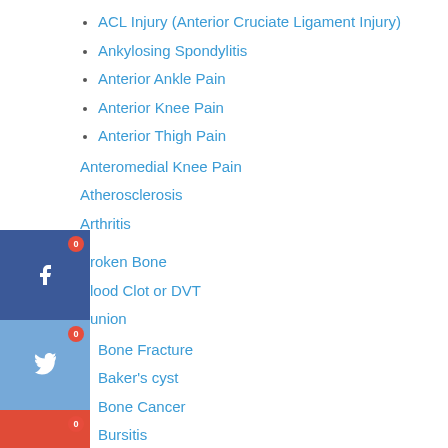ACL Injury (Anterior Cruciate Ligament Injury)
Ankylosing Spondylitis
Anterior Ankle Pain
Anterior Knee Pain
Anterior Thigh Pain
Anteromedial Knee Pain
Atherosclerosis
Arthritis
Broken Bone
Blood Clot or DVT
Bunion
Bone Fracture
Baker's cyst
Bone Cancer
Bursitis
[Figure (infographic): Social media sharing sidebar with Facebook, Twitter, Google+, LinkedIn, and Email buttons, each showing a count badge of 0]